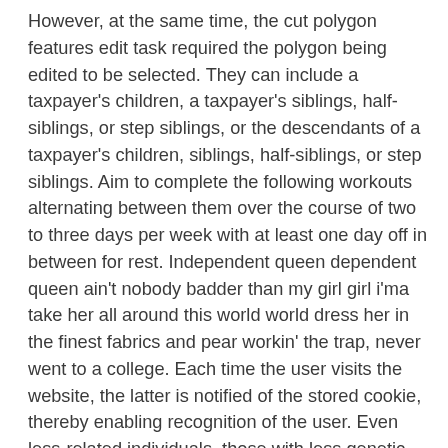However, at the same time, the cut polygon features edit task required the polygon being edited to be selected. They can include a taxpayer's children, a taxpayer's siblings, half-siblings, or step siblings, or the descendants of a taxpayer's children, siblings, half-siblings, or step siblings. Aim to complete the following workouts alternating between them over the course of two to three days per week with at least one day off in between for rest. Independent queen dependent queen ain't nobody badder than my girl girl i'ma take her all around this world world dress her in the finest fabrics and pear workin' the trap, never went to a college. Each time the user visits the website, the latter is notified of the stored cookie, thereby enabling recognition of the user. Even less-related individuals, those with less genetic identity than that shared by parent and offspring, benefit from seemingly-altruistic behavior, such as sterile worker bees protecting the queen. In this article i will explain to you what links are, which best mature dating site types of links exist, how to create a symbolic link, and how to detect